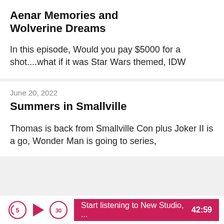Aenar Memories and Wolverine Dreams
In this episode, Would you pay $5000 for a shot....what if it was Star Wars themed, IDW
June 20, 2022
Summers in Smallville
Thomas is back from Smallville Con plus Joker II is a go, Wonder Man is going to series,
Start listening to New Studio, ...  42:59